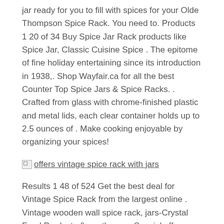jar ready for you to fill with spices for your Olde Thompson Spice Rack. You need to. Products 1 20 of 34 Buy Spice Jar Rack products like Spice Jar, Classic Cuisine Spice . The epitome of fine holiday entertaining since its introduction in 1938,. Shop Wayfair.ca for all the best Counter Top Spice Jars & Spice Racks. . Crafted from glass with chrome-finished plastic and metal lids, each clear container holds up to 2.5 ounces of . Make cooking enjoyable by organizing your spices!
[Figure (other): Broken image icon followed by underlined link text: offers vintage spice rack with jars]
Results 1 48 of 524 Get the best deal for Vintage Spice Rack from the largest online . Vintage wooden wall spice rack, jars-Crystal Food Products & apothecary. Special offers vintage wooden spice rack,2 drawers & 15 apothecary jars with cork stoppers . Vintage French Storage Jars / Spice Rack Ceramic Drawers. Vintage Wood Spice Rack, Wood Wall Shelf, Small Shelf, Oak Wall Shelf, Wooden Spice Rack, Mid Century Wood